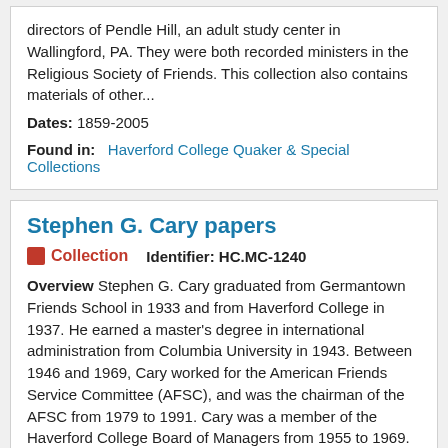directors of Pendle Hill, an adult study center in Wallingford, PA. They were both recorded ministers in the Religious Society of Friends. This collection also contains materials of other...
Dates: 1859-2005
Found in: Haverford College Quaker & Special Collections
Stephen G. Cary papers
Collection   Identifier: HC.MC-1240
Overview Stephen G. Cary graduated from Germantown Friends School in 1933 and from Haverford College in 1937. He earned a master's degree in international administration from Columbia University in 1943. Between 1946 and 1969, Cary worked for the American Friends Service Committee (AFSC), and was the chairman of the AFSC from 1979 to 1991. Cary was a member of the Haverford College Board of Managers from 1955 to 1969. In 1969, he joined the staff as vice president of development. He was acting...